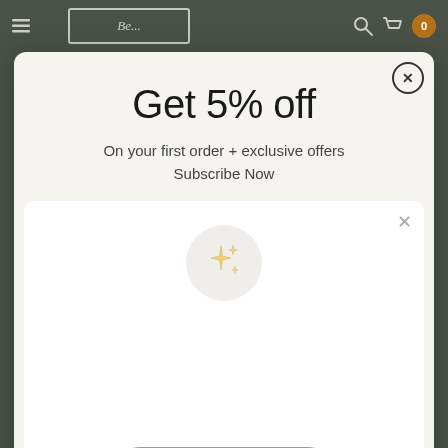[Figure (screenshot): Dark navigation bar with logo box outline and cart icon with orange badge showing 0]
Get 5% off
On your first order + exclusive offers
Subscribe Now
[Figure (illustration): Inner white card with sparkle/stars emoji icon in a light circle, a muted green rounded rectangle button, and a thin gray bottom line indicator]